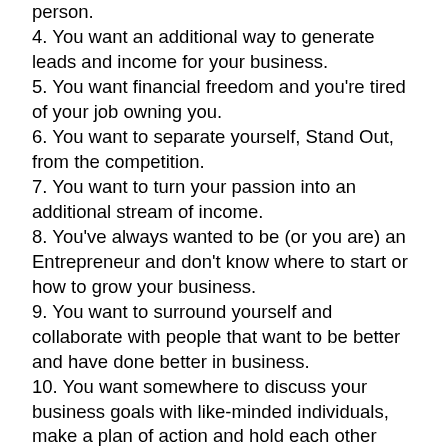person.
4. You want an additional way to generate leads and income for your business.
5. You want financial freedom and you're tired of your job owning you.
6. You want to separate yourself, Stand Out, from the competition.
7. You want to turn your passion into an additional stream of income.
8. You've always wanted to be (or you are) an Entrepreneur and don't know where to start or how to grow your business.
9. You want to surround yourself and collaborate with people that want to be better and have done better in business.
10. You want somewhere to discuss your business goals with like-minded individuals, make a plan of action and hold each other accountable.
If even one of these reasons resonated, then the Hundred Grand Plan is for you!